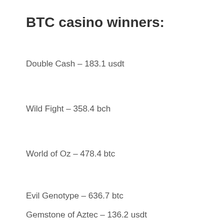BTC casino winners:
Double Cash – 183.1 usdt
Wild Fight – 358.4 bch
World of Oz – 478.4 btc
Evil Genotype – 636.7 btc
Gemstone of Aztec – 136.2 usdt